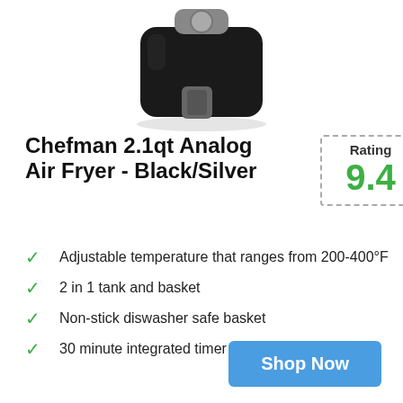[Figure (photo): Photo of a Chefman 2.1qt Analog Air Fryer in black and silver color, showing the top portion of the appliance with its handle visible]
Chefman 2.1qt Analog Air Fryer - Black/Silver
Rating 9.4
Adjustable temperature that ranges from 200-400°F
2 in 1 tank and basket
Non-stick diswasher safe basket
30 minute integrated timer
Shop Now